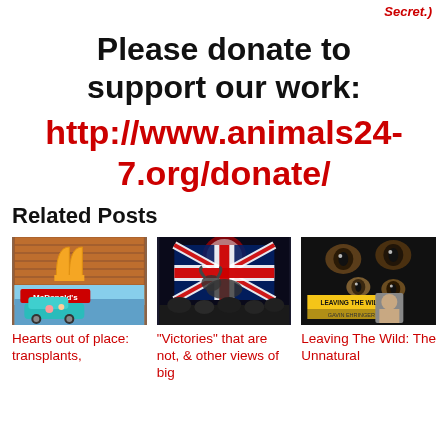(See also Conspiracy: The Sustainability Secret.)
Please donate to support our work:
http://www.animals24-7.org/donate/
Related Posts
[Figure (photo): McDonald's sign on brick wall with a teal van in front]
Hearts out of place: transplants,
[Figure (photo): Union Jack flag with a bull and crowd at a festival]
"Victories" that are not, & other views of big
[Figure (photo): Book cover: Leaving The Wild - The Unnatural]
Leaving The Wild: The Unnatural